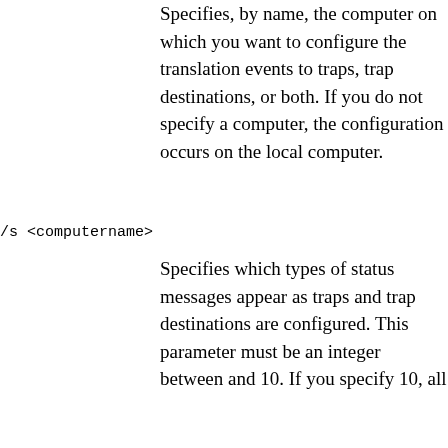/s <computername>
/v <verbositylevel>